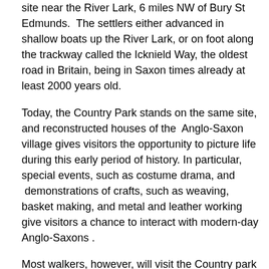site near the River Lark, 6 miles NW of Bury St Edmunds.  The settlers either advanced in shallow boats up the River Lark, or on foot along the trackway called the Icknield Way, the oldest road in Britain, being in Saxon times already at least 2000 years old.
Today, the Country Park stands on the same site, and reconstructed houses of the  Anglo-Saxon village gives visitors the opportunity to picture life during this early period of history. In particular, special events, such as costume drama, and  demonstrations of crafts, such as weaving, basket making, and metal and leather working give visitors a chance to interact with modern-day Anglo-Saxons .
Most walkers, however, will visit the Country park to walk round the attractive lake & by the river, and to roam more widely in the adjacent Kings Forest, which is a part of the East Anglian Forest known generally as Thetford Forest.
Development of West Stow Country Park